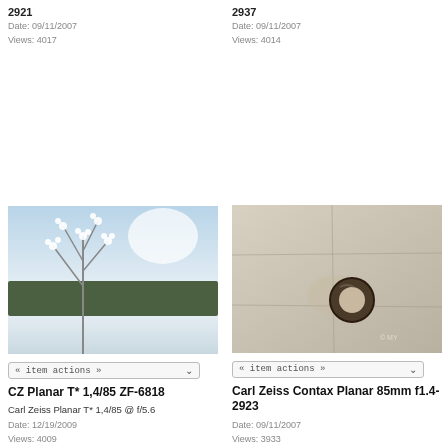2921
Date: 09/11/2007
Views: 4017
2937
Date: 09/11/2007
Views: 4014
[Figure (photo): Frosted winter plant branches with snowy forest background]
« item actions »
CZ Planar T* 1,4/85 ZF-6818
Carl Zeiss Planar T* 1,4/85 @ f/5.6
Date: 12/19/2009
Views: 4009
[Figure (photo): Metal ring on stone surface]
« item actions »
Carl Zeiss Contax Planar 85mm f1.4-2923
Date: 09/11/2007
Views: 3933